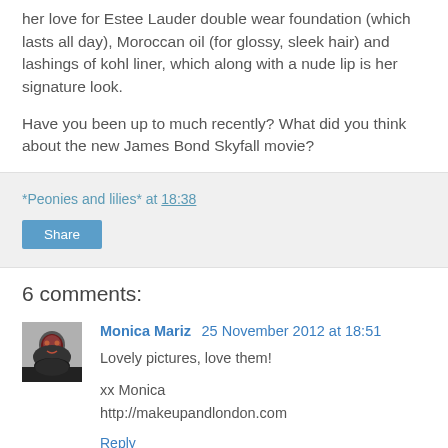her love for Estee Lauder double wear foundation (which lasts all day), Moroccan oil (for glossy, sleek hair) and lashings of kohl liner, which along with a nude lip is her signature look.
Have you been up to much recently? What did you think about the new James Bond Skyfall movie?
*Peonies and lilies* at 18:38
Share
6 comments:
Monica Mariz 25 November 2012 at 18:51
Lovely pictures, love them!

xx Monica
http://makeupandlondon.com

Reply